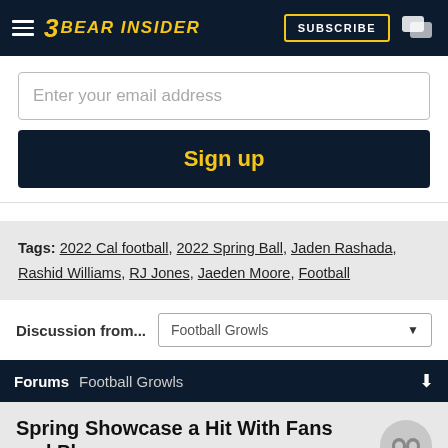Bear Insider — Subscribe
Enter your email address
Sign up
Tags: 2022 Cal football, 2022 Spring Ball, Jaden Rashada, Rashid Williams, RJ Jones, Jaeden Moore, Football
Discussion from... Football Growls
Forums Football Growls
Spring Showcase a Hit With Fans and Players
3,449 Views | 4 Replies
Blueblood L  12:15a, 5/1/22